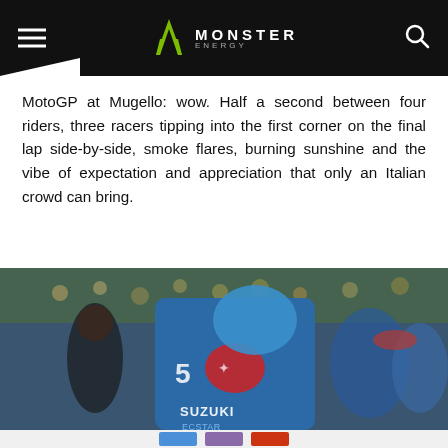Monster Energy (logo header with hamburger menu and search icon)
MotoGP at Mugello: wow. Half a second between four riders, three racers tipping into the first corner on the final lap side-by-side, smoke flares, burning sunshine and the vibe of expectation and appreciation that only an Italian crowd can bring.
[Figure (photo): A MotoGP rider in a blue Suzuki Ecstar racing suit with number 35, looking downward, surrounded by crowd and team members in a pit/grid area at Mugello. A woman in dark clothing stands nearby.]
Social sharing icons: Facebook, Twitter, email/share, orange/Reddit